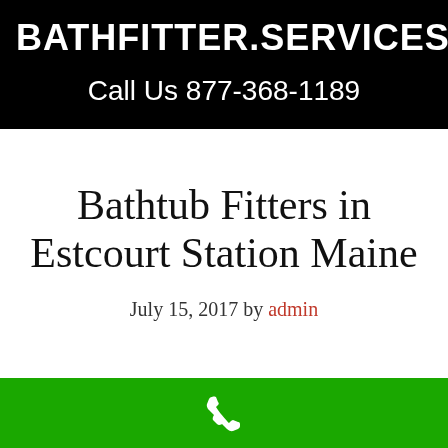BATHFITTER.SERVICES
Call Us 877-368-1189
Bathtub Fitters in Estcourt Station Maine
July 15, 2017 by admin
[Figure (illustration): White phone handset icon on green background bar at bottom of page]